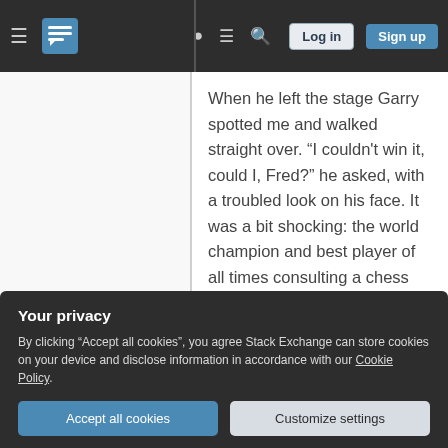Stack Exchange navigation bar with hamburger menu, logo, help, chat, search icons, Log in and Sign up buttons
When he left the stage Garry spotted me and walked straight over. “I couldn't win it, could I, Fred?” he asked, with a troubled look on his face. It was a bit shocking: the world champion and best player of all times consulting a chess amateur, asking for an evaluation of the game he has just spent six hours on!
Naturally Garry wasn't asking me, he was asking Fritz. He knew I would have been asking Fritz. He knew I would have been dictated the critical lines. All of this was
Your privacy
By clicking “Accept all cookies”, you agree Stack Exchange can store cookies on your device and disclose information in accordance with our Cookie Policy.
Accept all cookies
Customize settings